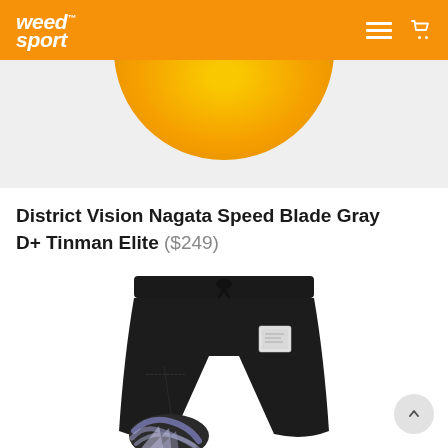weed sport
[Figure (photo): Partial product image showing a yellow/orange circular lens or object against a light gray background]
District Vision Nagata Speed Blade Gray D+ Tinman Elite ($249)
[Figure (photo): Black sweatpants/joggers with white label patch on right hip and tie-dye or graphic print near the bottom hem, shown against white background]